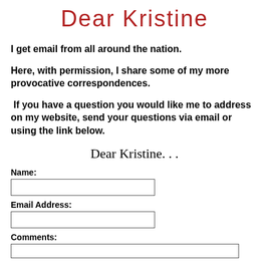Dear Kristine
I get email from all around the nation.
Here, with permission, I share some of my more provocative correspondences.
If you have a question you would like me to address on my website, send your questions via email or using the link below.
Dear Kristine. . .
Name:
Email Address:
Comments: